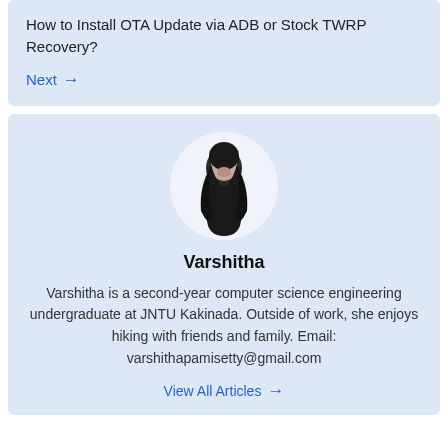How to Install OTA Update via ADB or Stock TWRP Recovery?
Next →
[Figure (photo): Circular profile photo of Varshitha, a young woman with long dark hair, shown in black and white]
Varshitha
Varshitha is a second-year computer science engineering undergraduate at JNTU Kakinada. Outside of work, she enjoys hiking with friends and family. Email: varshithapamisetty@gmail.com
View All Articles →